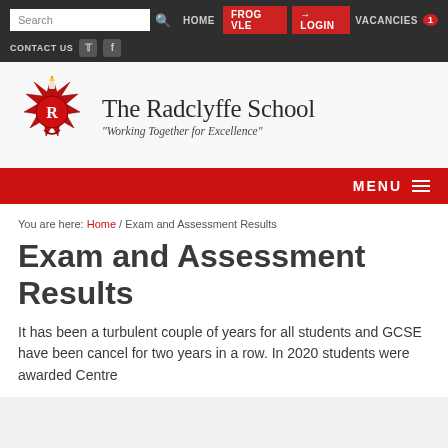Search | HOME | FROG VLE | LOGIN | VACANCIES 1 | CONTACT US
[Figure (logo): The Radclyffe School crest logo — red heraldic emblem with letter R in center]
The Radclyffe School
"Working Together for Excellence"
MENU
You are here: Home / Exam and Assessment Results
Exam and Assessment Results
It has been a turbulent couple of years for all students and GCSE have been cancel for two years in a row. In 2020 students were awarded Centre